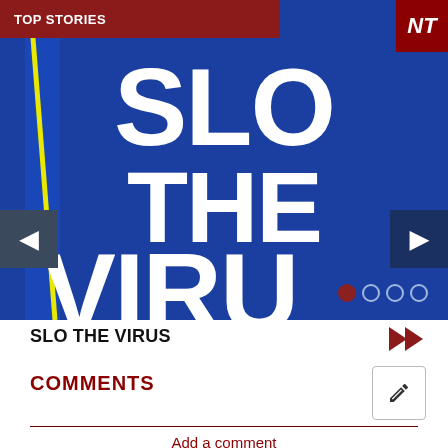TOP STORIES
[Figure (screenshot): Blue graphic slide with large white bold text reading 'SLO THE VIRUS' with a road and yellow line on the left edge. Navigation arrows on left and right sides. Pagination dots (filled red, then empty circles) at bottom right.]
SLO THE VIRUS
COMMENTS
Add a comment